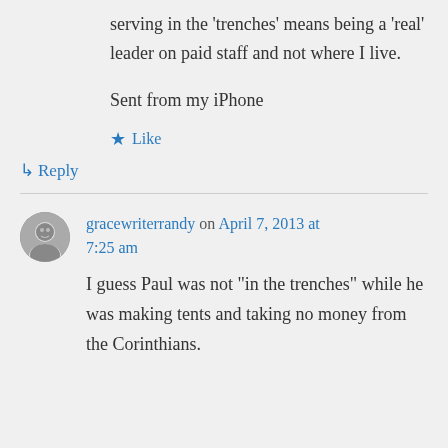serving in the ‘trenches’ means being a ‘real’ leader on paid staff and not where I live.
Sent from my iPhone
★ Like
↳ Reply
gracewriterrandy on April 7, 2013 at 7:25 am
I guess Paul was not “in the trenches” while he was making tents and taking no money from the Corinthians.